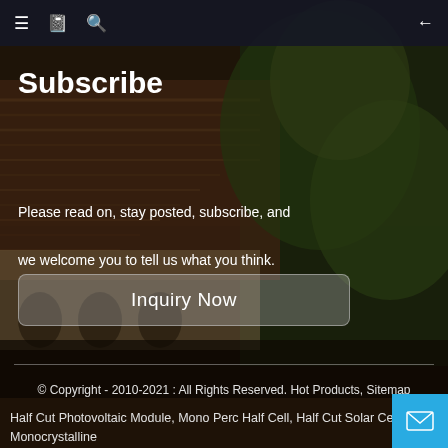≡ 📋 🔍  ←
Subscribe
Please read on, stay posted, subscribe, and we welcome you to tell us what you think.
Inquiry Now
© Copyright - 2010-2021 : All Rights Reserved. Hot Products, Sitemap
Half Cut Photovoltaic Module, Mono Perc Half Cell, Half Cut Solar Cells, Monocrystalline
Half Cells Solar Panel, Mono Perc Half Cut Pv Module, Half Cut Cell,